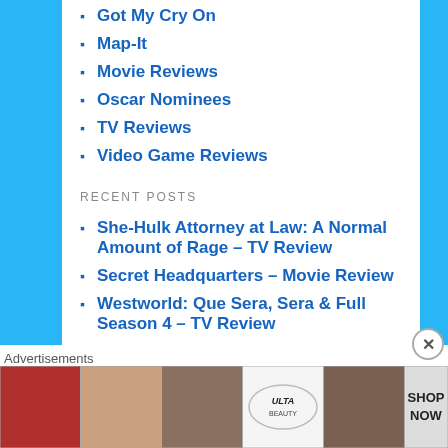Got My Cry On
Map-It
Movie Reviews
Oscar Nominees
TV Reviews
Video Game Reviews
RECENT POSTS
She-Hulk Attorney at Law: A Normal Amount of Rage – TV Review
Secret Headquarters – Movie Review
Westworld: Que Sera, Sera & Full Season 4 – TV Review
Nope – Movie Review
Austin Powers: International Man of Mystery (1997) – Exploring the Past
Advertisements